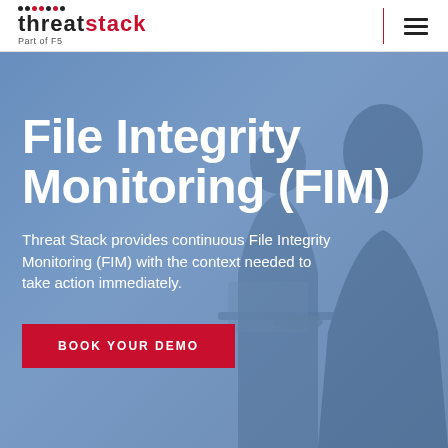Threat Stack – Part of F5
[Figure (photo): Hero background image showing people working at computers with a blue overlay tint]
File Integrity Monitoring (FIM)
Threat Stack provides continuous File Integrity Monitoring (FIM) with the context needed to take action immediately.
BOOK YOUR DEMO